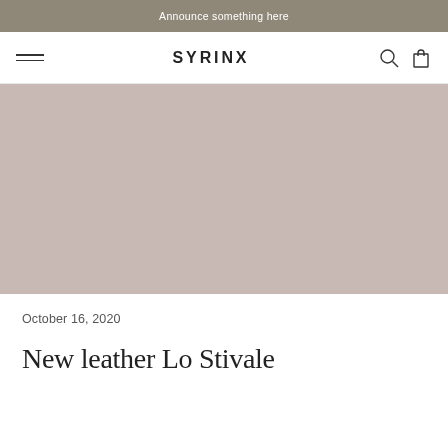Announce something here
SYRINX
[Figure (photo): Large hero image placeholder with muted rose/taupe color background]
October 16, 2020
New leather Lo Stivale